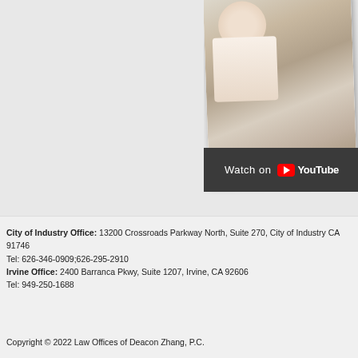[Figure (photo): YouTube video thumbnail showing a woman smiling, lying down and looking at the camera, with a 'Watch on YouTube' overlay bar at the bottom. Chinese characters visible on the image.]
City of Industry Office: 13200 Crossroads Parkway North, Suite 270, City of Industry CA  91746
Tel: 626-346-0909;626-295-2910
Irvine Office: 2400 Barranca Pkwy, Suite 1207, Irvine, CA 92606
Tel: 949-250-1688
Copyright © 2022 Law Offices of Deacon Zhang, P.C.